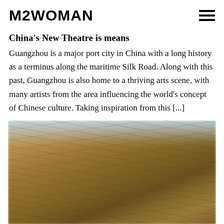M2WOMAN
China's New Theatre is means
Guangzhou is a major port city in China with a long history as a terminus along the maritime Silk Road. Along with this past, Guangzhou is also home to a thriving arts scene, with many artists from the area influencing the world's concept of Chinese culture. Taking inspiration from this [...]
[Figure (photo): Blurred outdoor landscape photograph showing a field or low vegetation in warm amber and brown tones under a pale blue sky, appearing to be a rural or natural scene possibly in China.]